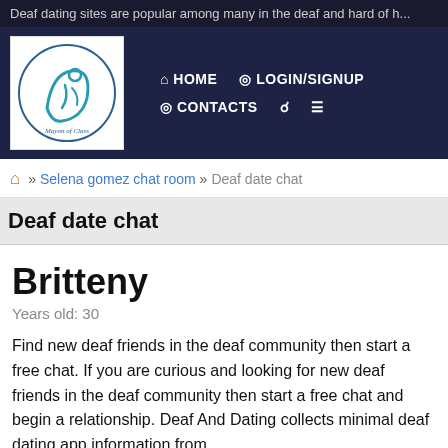Deaf dating sites are popular among many in the deaf and hard of h...
[Figure (logo): Website logo with stylized figure and text 'Mayon of Class']
HOME  LOGIN/SIGNUP  CONTACTS  [search icon]  [menu icon]
» Selena gomez chat room » Deaf date chat
Deaf date chat
Britteny
Years old: 30
Find new deaf friends in the deaf community then start a free chat. If you are curious and looking for new deaf friends in the deaf community then start a free chat and begin a relationship. Deaf And Dating collects minimal deaf dating app information from